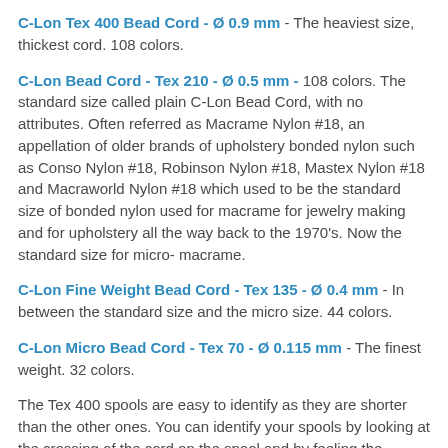C-Lon Tex 400 Bead Cord - Ø 0.9 mm - The heaviest size, thickest cord. 108 colors.
C-Lon Bead Cord - Tex 210 - Ø 0.5 mm - 108 colors. The standard size called plain C-Lon Bead Cord, with no attributes. Often referred as Macrame Nylon #18, an appellation of older brands of upholstery bonded nylon such as Conso Nylon #18, Robinson Nylon #18, Mastex Nylon #18 and Macraworld Nylon #18 which used to be the standard size of bonded nylon used for macrame for jewelry making and for upholstery all the way back to the 1970's. Now the standard size for micro- macrame.
C-Lon Fine Weight Bead Cord - Tex 135 - Ø 0.4 mm - In between the standard size and the micro size. 44 colors.
C-Lon Micro Bead Cord - Tex 70 - Ø 0.115 mm - The finest weight. 32 colors.
The Tex 400 spools are easy to identify as they are shorter than the other ones. You can identify your spools by looking at the crossing of the cord on the spool and by feeling the